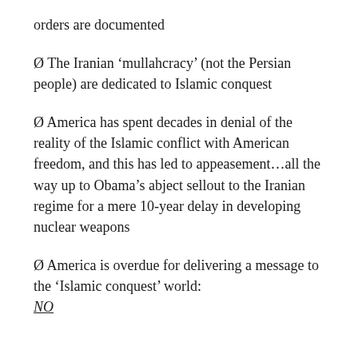orders are documented
Ø The Iranian ‘mullahcracy’ (not the Persian people) are dedicated to Islamic conquest
Ø America has spent decades in denial of the reality of the Islamic conflict with American freedom, and this has led to appeasement…all the way up to Obama’s abject sellout to the Iranian regime for a mere 10-year delay in developing nuclear weapons
Ø America is overdue for delivering a message to the ‘Islamic conquest’ world: NO